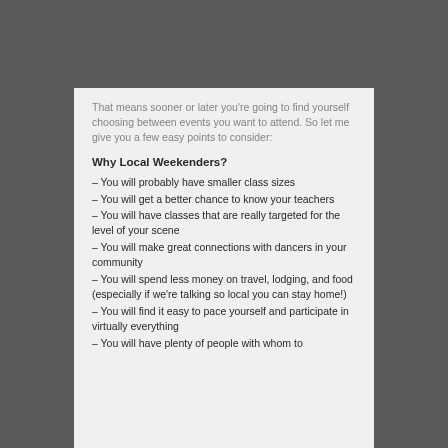That means sooner or later you're going to find yourself choosing between events you want to attend. So let me give you a few easy points to consider:
Why Local Weekenders?
– You will probably have smaller class sizes
– You will get a better chance to know your teachers
– You will have classes that are really targeted for the level of your scene
– You will make great connections with dancers in your community
– You will spend less money on travel, lodging, and food (especially if we're talking so local you can stay home!)
– You will find it easy to pace yourself and participate in virtually everything
– You will have plenty of people with whom to